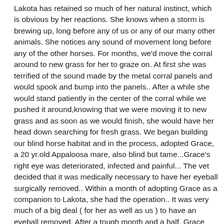Lakota has retained so much of her natural instinct, which is obvious by her reactions. She knows when a storm is brewing up, long before any of us or any of our many other animals. She notices any sound of movement long before any of the other horses. For months, we'd move the corral around to new grass for her to graze on. At first she was terrified of the sound made by the metal corral panels and would spook and bump into the panels.. After a while she would stand patiently in the center of the corral while we pushed it around,knowing that we were moving it to new grass and as soon as we would finish, she would have her head down searching for fresh grass. We began building our blind horse habitat and in the process, adopted Grace, a 20 yr.old Appaloosa mare, also blind but tame...Grace's right eye was deteriorated, infected and painful... The vet decided that it was medically necessary to have her eyeball surgically removed.. Within a month of adopting Grace as a companion to Lakota, she had the operation.. It was very much of a big deal ( for her as well as us ) to have an eyeball removed. After a tough month and a half, Grace finally was healed.After five months of living in the corral, Lakota and I had made progress. She now allows me to touch her face, neck and back.. She moves toward my voice and will "answer" back when I call to her.